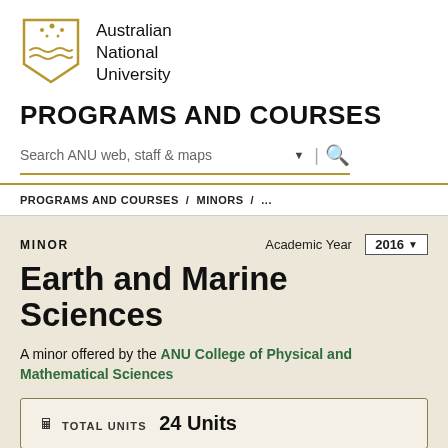[Figure (logo): Australian National University shield logo in gold]
Australian National University
PROGRAMS AND COURSES
Search ANU web, staff & maps
PROGRAMS AND COURSES / MINORS / ...
MINOR
Academic Year 2016
Earth and Marine Sciences
A minor offered by the ANU College of Physical and Mathematical Sciences
TOTAL UNITS 24 Units